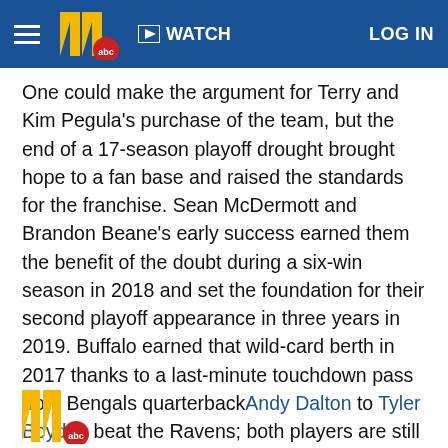WATCH  LOG IN
One could make the argument for Terry and Kim Pegula's purchase of the team, but the end of a 17-season playoff drought brought hope to a fan base and raised the standards for the franchise. Sean McDermott and Brandon Beane's early success earned them the benefit of the doubt during a six-win season in 2018 and set the foundation for their second playoff appearance in three years in 2019. Buffalo earned that wild-card berth in 2017 thanks to a last-minute touchdown pass from Bengals quarterback Andy Dalton to Tyler Boyd to beat the Ravens; both players are still revered in Buffalo. -- Marcel Louis-Jacques
[Figure (logo): ABC 11 news partial logo at bottom left]